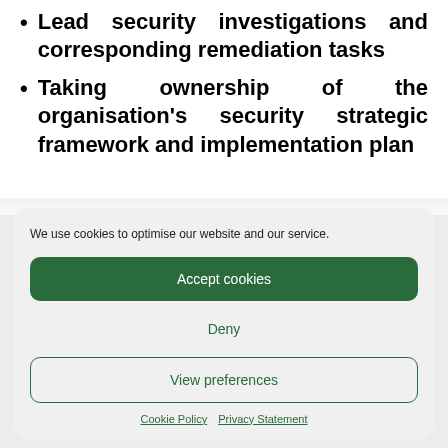Lead security investigations and corresponding remediation tasks
Taking ownership of the organisation's security strategic framework and implementation plan
We use cookies to optimise our website and our service.
Accept cookies
Deny
View preferences
Cookie Policy  Privacy Statement